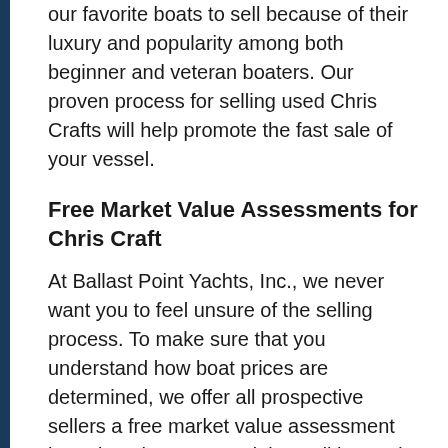our favorite boats to sell because of their luxury and popularity among both beginner and veteran boaters. Our proven process for selling used Chris Crafts will help promote the fast sale of your vessel.
Free Market Value Assessments for Chris Craft
At Ballast Point Yachts, Inc., we never want you to feel unsure of the selling process. To make sure that you understand how boat prices are determined, we offer all prospective sellers a free market value assessment based on the year, model, condition and market demand for your used Chris Craft boat. We will also reference our private MLS sources to identify